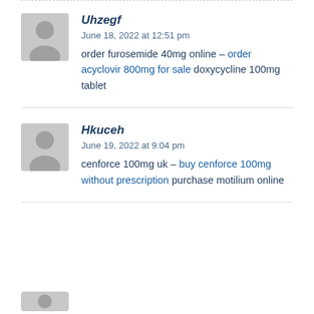Uhzegf — June 18, 2022 at 12:51 pm — order furosemide 40mg online – order acyclovir 800mg for sale doxycycline 100mg tablet
Hkuceh — June 19, 2022 at 9:04 pm — cenforce 100mg uk – buy cenforce 100mg without prescription purchase motilium online